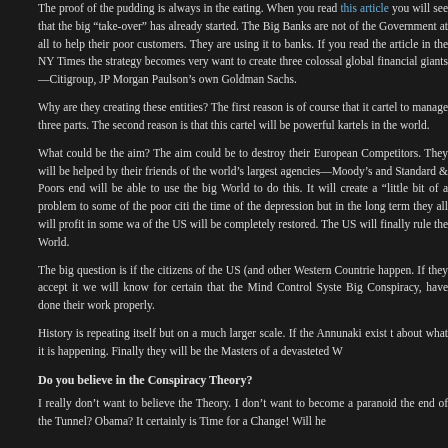The proof of the pudding is always in the eating. When you read this article you will see that the big “take-over” has already started. The Big Banks are not of the Government at all to help their poor customers. They are using it to banks. If you read the article in the NY Times the strategy becomes very want to create three colossal global financial giants—Citigroup, JP Morgan Paulson’s own Goldman Sachs.
Why are they creating these entities? The first reason is of course that it cartel to manage three parts. The second reason is that this cartel will be powerful kartels in the world.
What could be the aim? The aim could be to destroy their European Competitors. They will be helped by their friends of the world’s largest agencies—Moody’s and Standard & Poors end will be able to use the big World to do this. It will create a “little bit of a problem to some of the poor citi the time of the depression but in the long term they all will profit in some wa of the US will be completely restored. The US will finally rule the World.
The big question is if the citizens of the US (and other Western Countrie happen. If they accept it we will know for certain that the Mind Control Syste Big Conspiracy, have done their work properly.
History is repeating itself but on a much larger scale. If the Annunaki exist t about what it is happening. Finally they will be the Masters of a devasteted W
Do you believe in the Conspiracy Theory?
I really don’t want to believe the Theory. I don’t want to become a paranoid the end of the Tunnel? Obama? It certainly is Time for a Change! Will he